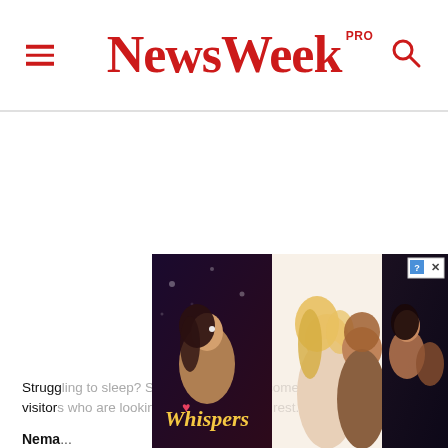NewsWeek PRO
Struggling to sleep? Share anything that comes to mind with our visitor...
Nema...